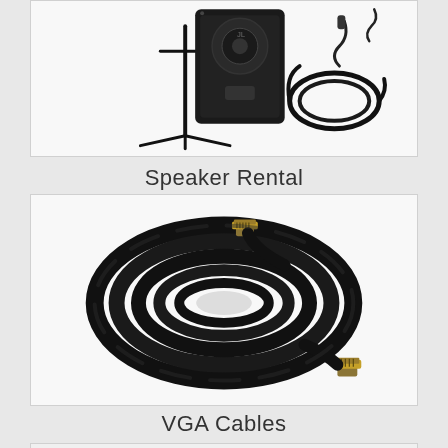[Figure (photo): Speaker rental equipment: a speaker on a stand, power cable, and accessories on white background]
Speaker Rental
[Figure (photo): A large coiled black VGA cable with gold-tipped connectors at both ends, shown on white background]
VGA Cables
[Figure (photo): Partial view of another product image at bottom of page]